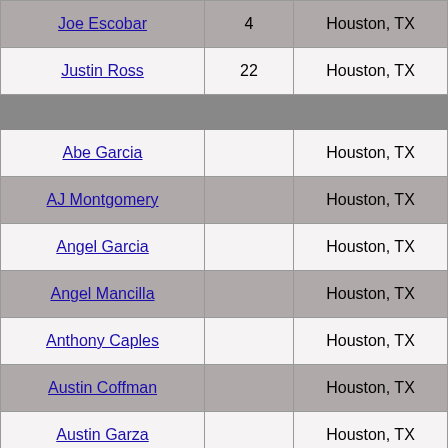| Name | Number | Location | Position |
| --- | --- | --- | --- |
| Joe Escobar | 4 | Houston, TX | 3b |
| Justin Ross | 22 | Houston, TX | 1b |
| (divider) |  |  |  |
| Abe Garcia |  | Houston, TX | OF |
| AJ Montgomery |  | Houston, TX | OF |
| Angel Garcia |  | Houston, TX | OF |
| Angel Mancilla |  | Houston, TX | OF |
| Anthony Caples |  | Houston, TX | OF |
| Austin Coffman |  | Houston, TX | OF |
| Austin Garza |  | Houston, TX | OF |
| Blake Gorman |  | Houston, TX | OF |
| Carlos Ramon |  | Houston, TX | OF |
| Cep Ceipo | 44 | Houston, TX | OF |
| Chris Kasman |  | Houston, TX | OF |
| Eloy Barrera |  | Houston, TX | OF |
| Filo Rodriguez | 15 | Houston, TX | OF |
| Frank Carillo |  | Houston, TX | OF |